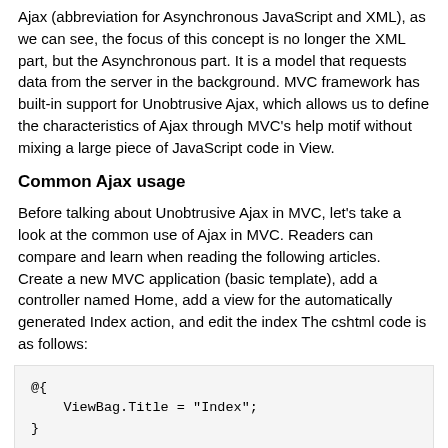Ajax (abbreviation for Asynchronous JavaScript and XML), as we can see, the focus of this concept is no longer the XML part, but the Asynchronous part. It is a model that requests data from the server in the background. MVC framework has built-in support for Unobtrusive Ajax, which allows us to define the characteristics of Ajax through MVC's help motif without mixing a large piece of JavaScript code in View.
Common Ajax usage
Before talking about Unobtrusive Ajax in MVC, let's take a look at the common use of Ajax in MVC. Readers can compare and learn when reading the following articles.
Create a new MVC application (basic template), add a controller named Home, add a view for the automatically generated Index action, and edit the index The cshtml code is as follows:
@{
    ViewBag.Title = "Index";
}

<script type="text/javascript">